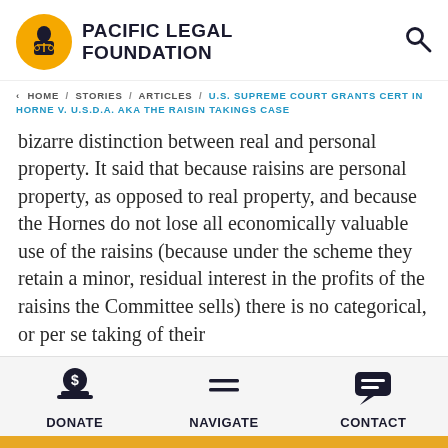PACIFIC LEGAL FOUNDATION
< HOME / STORIES / ARTICLES / U.S. SUPREME COURT GRANTS CERT IN HORNE V. U.S.D.A. AKA THE RAISIN TAKINGS CASE
bizarre distinction between real and personal property. It said that because raisins are personal property, as opposed to real property, and because the Hornes do not lose all economically valuable use of the raisins (because under the scheme they retain a minor, residual interest in the profits of the raisins the Committee sells) there is no categorical, or per se taking of their
DONATE   NAVIGATE   CONTACT